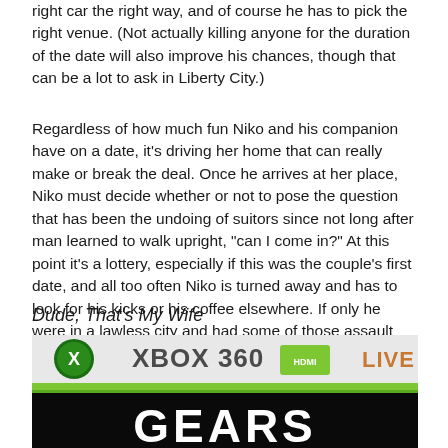right car the right way, and of course he has to pick the right venue. (Not actually killing anyone for the duration of the date will also improve his chances, though that can be a lot to ask in Liberty City.)
Regardless of how much fun Niko and his companion have on a date, it's driving her home that can really make or break the deal. Once he arrives at her place, Niko must decide whether or not to pose the question that has been the undoing of suitors since not long after man learned to walk upright, "can I come in?" At this point it's a lottery, especially if this was the couple's first date, and all too often Niko is turned away and has to look for his kicks or his coffee elsewhere. If only he were in a lawless city and had some of those assault rifles to vent some of that frustration.
Dude, That's My Wife
[Figure (photo): Xbox 360 and Xbox Live logo banner above a Gears of War game box/display showing the word GEARS in large stylized letters on a dark background]